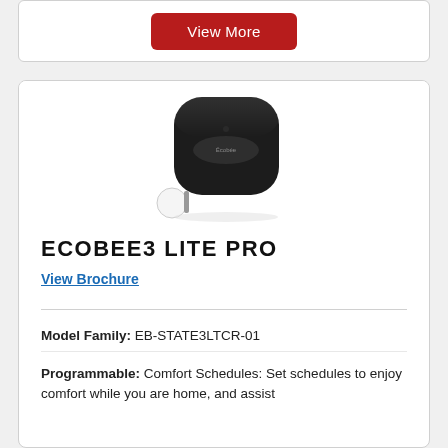[Figure (other): Red rounded rectangle button labeled 'View More' on a white card]
[Figure (photo): Ecobee3 Lite Pro thermostat device — black rounded square body with a small white sensor ball accessory]
ECOBEE3 LITE PRO
View Brochure
Model Family: EB-STATE3LTCR-01
Programmable: Comfort Schedules: Set schedules to enjoy comfort while you are home, and assist